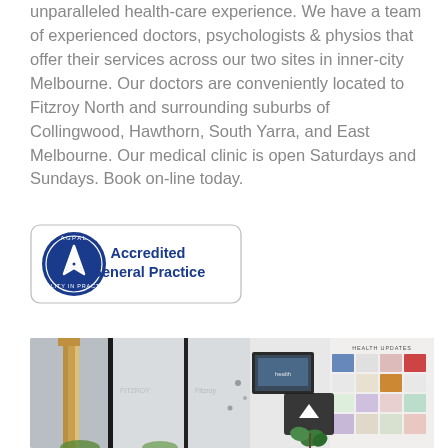unparalleled health-care experience. We have a team of experienced doctors, psychologists & physios that offer their services across our two sites in inner-city Melbourne. Our doctors are conveniently located to Fitzroy North and surrounding suburbs of Collingwood, Hawthorn, South Yarra, and East Melbourne. Our medical clinic is open Saturdays and Sundays. Book on-line today.
[Figure (logo): AGPAL Accredited General Practice badge/logo with circular seal and text]
[Figure (photo): Interior photo of a medical clinic waiting area showing wooden dividers, a health updates noticeboard, plants, and a scroll-up button overlay]